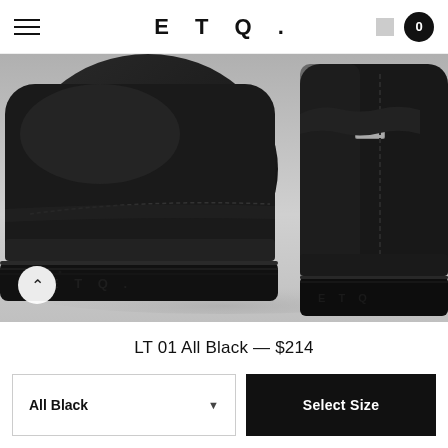ETQ. — navigation bar with hamburger menu and cart (0)
[Figure (photo): Close-up photo of two all-black ETQ sneakers showing the heel and sole area. The soles have a textured pattern with 'ETQ' embossed on them. The shoes are matte black leather with a small silver/grey rectangular tag on the heel.]
LT 01 All Black — $214
All Black
Select Size